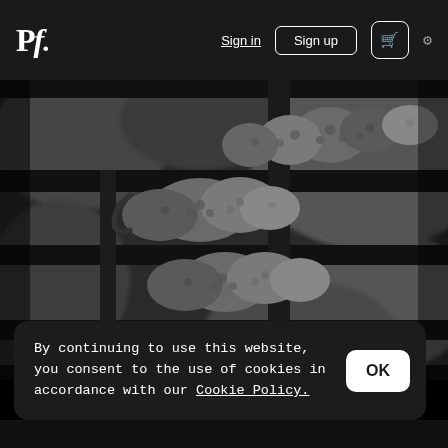Pf. | Sign in | Sign up | Cart | Settings
[Figure (photo): Black and white close-up photo of textured animal feet/claws gripping metal bars or rails, macro photography style]
By continuing to use this website, you consent to the use of cookies in accordance with our Cookie Policy.
OK